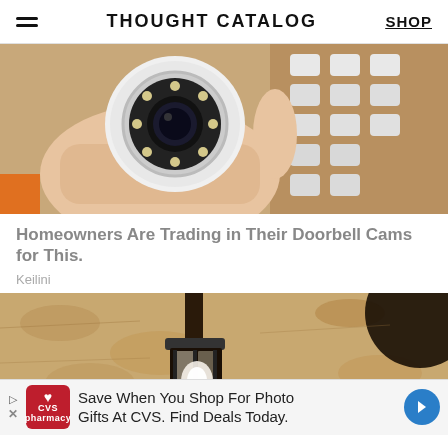THOUGHT CATALOG | SHOP
[Figure (photo): A hand holding a small white circular security camera with LEDs arranged around the lens, with foam-padded packaging in the background.]
Homeowners Are Trading in Their Doorbell Cams for This.
Keilini
[Figure (photo): Close-up of a black vintage-style outdoor lantern light fixture mounted on a textured beige stucco wall, with a white bulb visible inside.]
Save When You Shop For Photo Gifts At CVS. Find Deals Today.